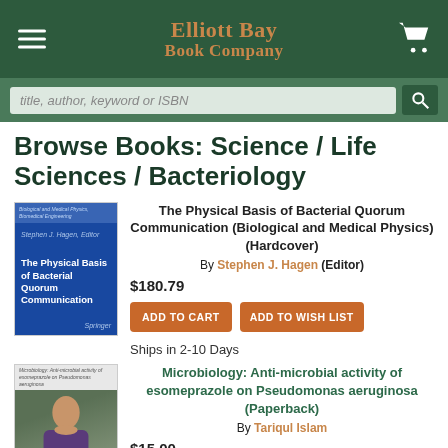Elliott Bay Book Company
Browse Books: Science / Life Sciences / Bacteriology
The Physical Basis of Bacterial Quorum Communication (Biological and Medical Physics) (Hardcover)
By Stephen J. Hagen (Editor)
$180.79
ADD TO CART | ADD TO WISH LIST
Ships in 2-10 Days
Microbiology: Anti-microbial activity of esomeprazole on Pseudomonas aeruginosa (Paperback)
By Tariqul Islam
$15.00